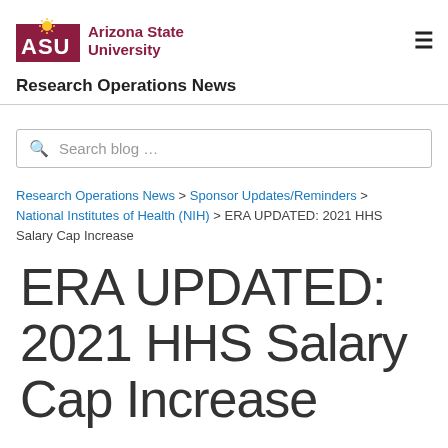Arizona State University — Research Operations News
Search blog …
Research Operations News > Sponsor Updates/Reminders > National Institutes of Health (NIH) > ERA UPDATED: 2021 HHS Salary Cap Increase
ERA UPDATED: 2021 HHS Salary Cap Increase